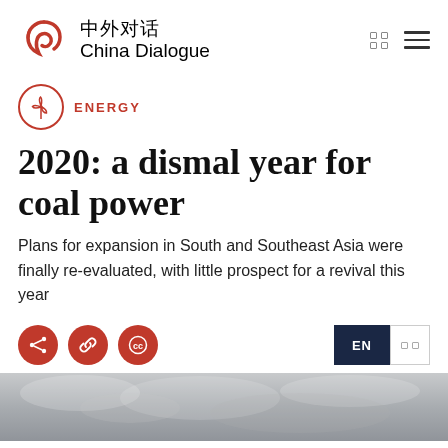中外对话 China Dialogue
ENERGY
2020: a dismal year for coal power
Plans for expansion in South and Southeast Asia were finally re-evaluated, with little prospect for a revival this year
[Figure (photo): Smoky/hazy industrial scene, grey tones at bottom of page]